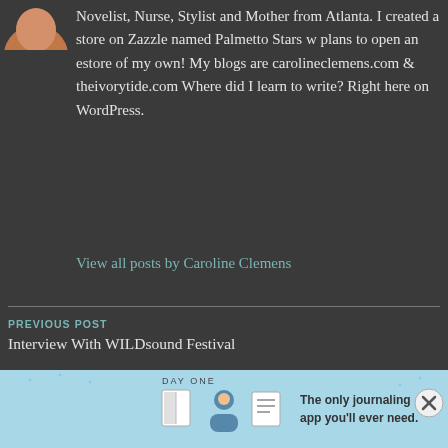Novelist, Nurse, Stylist and Mother from Atlanta. I created a store on Zazzle named Palmetto Stars w plans to open an estore of my own! My blogs are carolineclemens.com & theivorytide.com Where did I learn to write? Right here on WordPress.
View all posts by Caroline Clemens
PREVIOUS POST
Interview With WILDsound Festival
NEXT POST
SOMEDAY
[Figure (illustration): DAY ONE journaling app advertisement. Light blue background with day one icons (journal/person/list icons) and text: 'The only journaling app you'll ever need.']